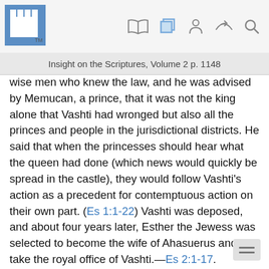Insight on the Scriptures, Volume 2 p. 1148
wise men who knew the law, and he was advised by Memucan, a prince, that it was not the king alone that Vashti had wronged but also all the princes and people in the jurisdictional districts. He said that when the princesses should hear what the queen had done (which news would quickly be spread in the castle), they would follow Vashti’s action as a precedent for contemptuous action on their own part. (Es 1:1-22) Vashti was deposed, and about four years later, Esther the Jewess was selected to become the wife of Ahasuerus and to take the royal office of Vashti.—Es 2:1-17.